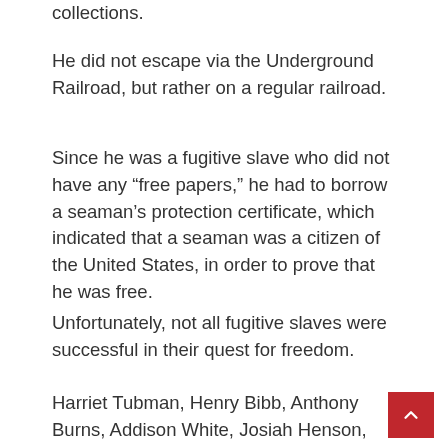collections.
He did not escape via the Underground Railroad, but rather on a regular railroad.
Since he was a fugitive slave who did not have any “free papers,” he had to borrow a seaman’s protection certificate, which indicated that a seaman was a citizen of the United States, in order to prove that he was free.
Unfortunately, not all fugitive slaves were successful in their quest for freedom.
Harriet Tubman, Henry Bibb, Anthony Burns, Addison White, Josiah Henson, and John Parker were just a few of the people who managed to escape slavery using the